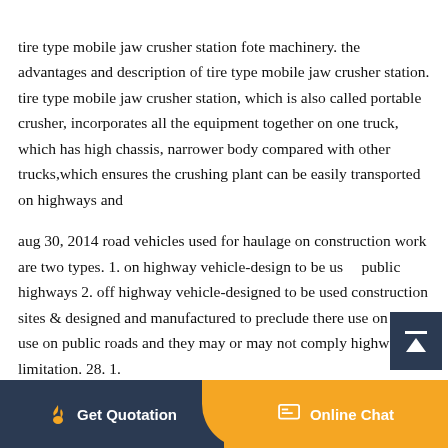tire type mobile jaw crusher station fote machinery. the advantages and description of tire type mobile jaw crusher station. tire type mobile jaw crusher station, which is also called portable crusher, incorporates all the equipment together on one truck, which has high chassis, narrower body compared with other trucks,which ensures the crushing plant can be easily transported on highways and
aug 30, 2014 road vehicles used for haulage on construction work are two types. 1. on highway vehicle-design to be used public highways 2. off highway vehicle-designed to be used construction sites & designed and manufactured to preclude there use on their use on public roads and they may or may not comply highway limitation. 28. 1.
[Figure (other): Dark navy scroll-to-top button with an upward arrow icon and horizontal line]
Get Quotation   Online Chat